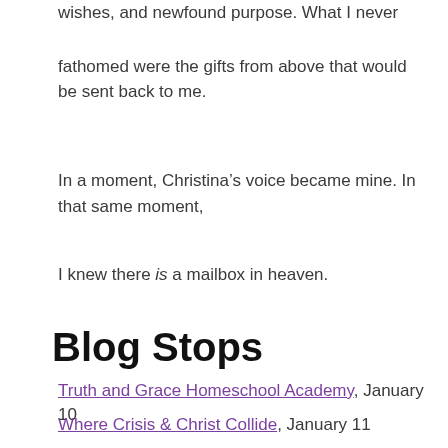wishes, and newfound purpose. What I never fathomed were the gifts from above that would be sent back to me.
In a moment, Christina’s voice became mine. In that same moment,
I knew there is a mailbox in heaven.
Blog Stops
Truth and Grace Homeschool Academy, January 10
Where Crisis & Christ Collide, January 11
Artistic Nobody, January 12 (Author Interview)